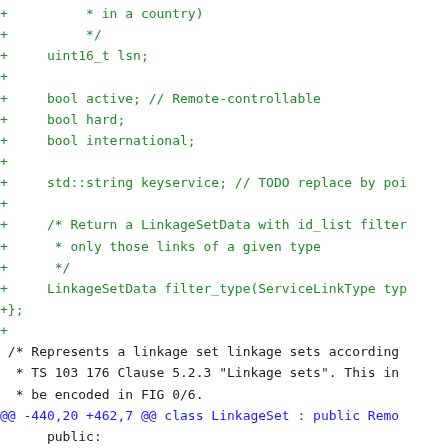Diff/patch code listing showing additions (green) and removals (red) in a C++ source file related to LinkageSet and ServiceLink classes.